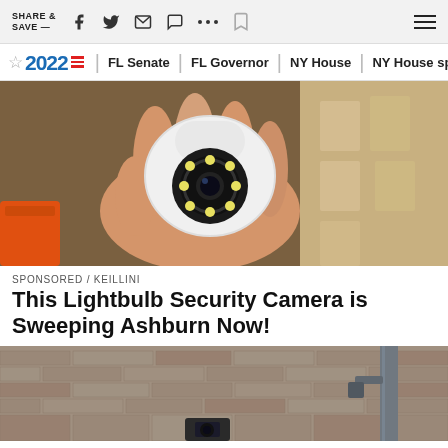SHARE & SAVE —
2022 | FL Senate | FL Governor | NY House | NY House spe
[Figure (photo): A hand holding a white dome-shaped security camera with LED ring and lens, with orange tool and packaged cameras visible in background]
SPONSORED / KEILLINI
This Lightbulb Security Camera is Sweeping Ashburn Now!
[Figure (photo): Exterior brick wall with a mounted security camera or similar device on a metal pole]